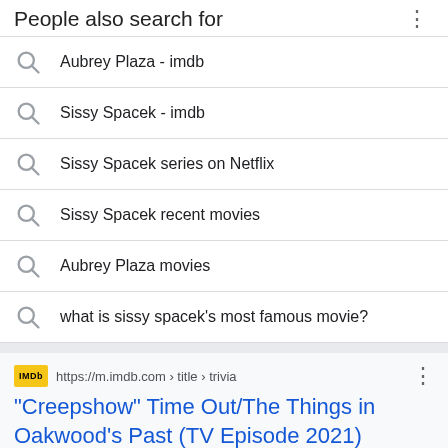People also search for
Aubrey Plaza - imdb
Sissy Spacek - imdb
Sissy Spacek series on Netflix
Sissy Spacek recent movies
Aubrey Plaza movies
what is sissy spacek's most famous movie?
https://m.imdb.com › title › trivia
"Creepshow" Time Out/The Things in Oakwood's Past (TV Episode 2021)